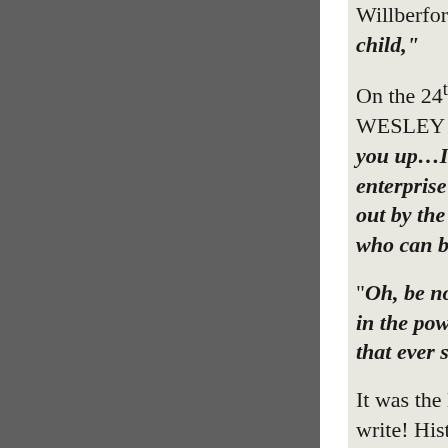Willberforce wro child,"
On the 24th of Fe WESLEY wrote y you up…I see no enterprise in opp out by the opposi who can be again
"Oh, be not wear in the power of H that ever saw the
It was the last lett write! Historians Wesley and his M similar fate that a
One man, JOHN Hugo stated: â€œ England.